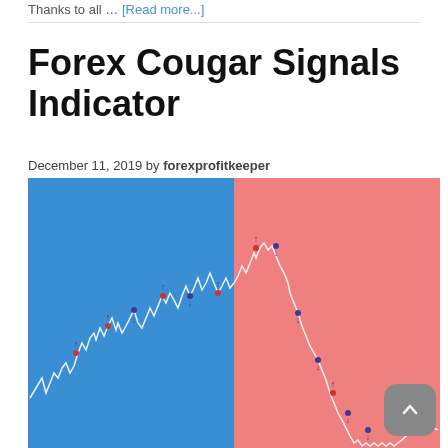Thanks to all … [Read more...]
Forex Cougar Signals Indicator
December 11, 2019 by forexprofitkeeper
[Figure (screenshot): Forex chart screenshot showing a candlestick/line chart with blue background on the left half and pink/salmon background on the right half. Small blue and red arrow signal markers appear at various points on the chart indicating buy and sell signals from the Forex Cougar Signals Indicator.]